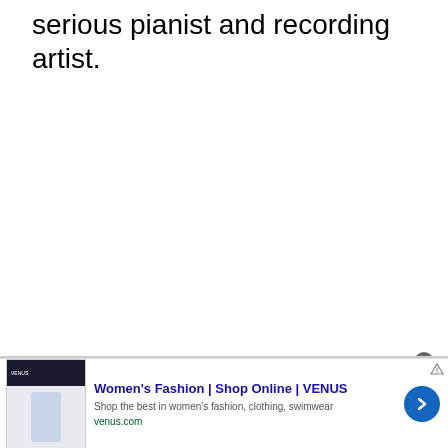serious pianist and recording artist.
[Figure (screenshot): Advertisement for Women's Fashion | Shop Online | VENUS. Shows a website screenshot thumbnail on the left with a model image, bold blue title text 'Women's Fashion | Shop Online | VENUS', subtitle 'Shop the best in women's fashion, clothing, swimwear', green URL 'venus.com', a blue circular arrow button on the right, and a close (X) button at the top of the ad.]